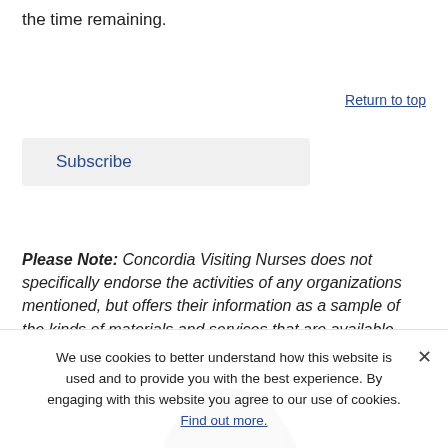the time remaining.
Return to top
Subscribe
Please Note: Concordia Visiting Nurses does not specifically endorse the activities of any organizations mentioned, but offers their information as a sample of the kinds of materials and services that are available.
[Figure (photo): Partial view of top of a person's head with dark hair]
We use cookies to better understand how this website is used and to provide you with the best experience. By engaging with this website you agree to our use of cookies. Find out more.